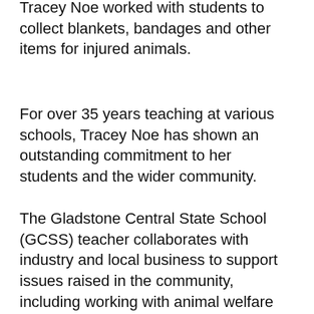Tracey Noe worked with students to collect blankets, bandages and other items for injured animals.
For over 35 years teaching at various schools, Tracey Noe has shown an outstanding commitment to her students and the wider community.
The Gladstone Central State School (GCSS) teacher collaborates with industry and local business to support issues raised in the community, including working with animal welfare groups.
GCSS is a Reef Guardian school and Tracey works to promote this, with students going on excursions to learn